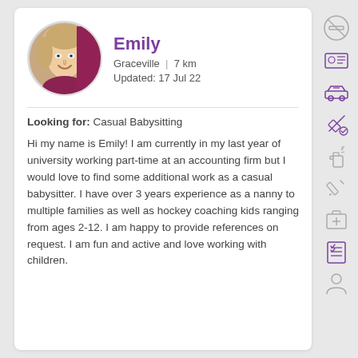[Figure (photo): Circular profile photo of Emily, a young blonde woman smiling]
Emily
Graceville | 7 km
Updated: 17 Jul 22
Looking for: Casual Babysitting
Hi my name is Emily! I am currently in my last year of university working part-time at an accounting firm but I would love to find some additional work as a casual babysitter. I have over 3 years experience as a nanny to multiple families as well as hockey coaching kids ranging from ages 2-12. I am happy to provide references on request. I am fun and active and love working with children.
[Figure (illustration): No smoking icon (circle with line)]
[Figure (illustration): ID / credentials icon]
[Figure (illustration): Car icon]
[Figure (illustration): Vaccination / syringe with checkmark icon]
[Figure (illustration): Spray bottle / cleaning icon]
[Figure (illustration): Pencil / writing icon (greyed out)]
[Figure (illustration): First aid / medical kit icon (greyed out)]
[Figure (illustration): Checklist icon]
[Figure (illustration): Person / user icon]